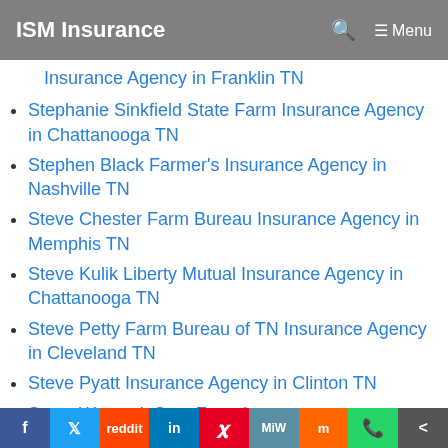ISM Insurance
Insurance Agency in Franklin TN
Stephanie Sinkfield State Farm Insurance Agency in Chattanooga TN
Stephen Black Farmer's Insurance Agency in Nashville TN
Steve Chester Farm Bureau Insurance Agency in Memphis TN
Steve Kulik Liberty Mutual Insurance Agency in Chattanooga TN
Steve Petty Farm Bureau of TN Insurance Agency in Cleveland TN
Steve Pyatt Insurance Agency in Clinton TN
Steve Womack Sate Farm Insurance
f  Twitter  Reddit  in  Pinterest  MiW  Mix  WhatsApp  Share